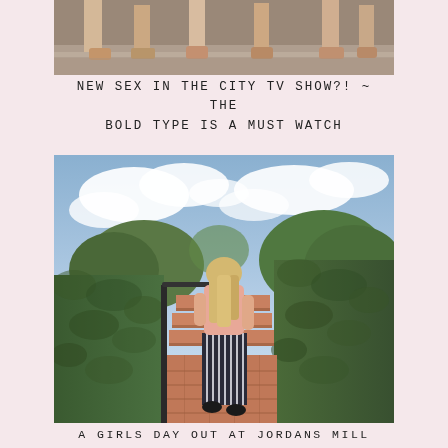[Figure (photo): Top portion of image showing people's feet and legs from above, standing on what appears to be a reflective surface]
NEW SEX IN THE CITY TV SHOW?! ~ THE BOLD TYPE IS A MUST WATCH
[Figure (photo): Woman with long blonde hair wearing a pink top and wide-leg striped trousers walking up brick steps between tall green hedges, viewed from behind, sunny day with blue sky and clouds]
A GIRLS DAY OUT AT JORDANS MILL